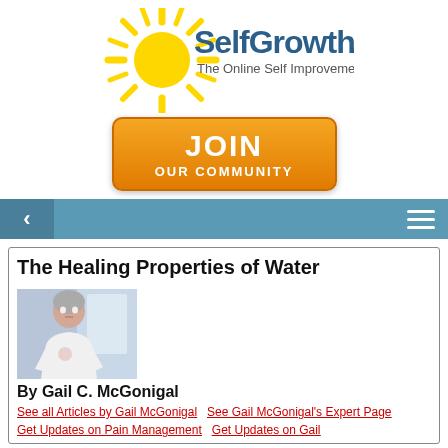[Figure (logo): SelfGrowth.com logo with sun graphic and tagline 'The Online Self Improvement Community']
[Figure (infographic): Orange gradient JOIN OUR COMMUNITY button/banner]
[Figure (screenshot): Navigation bar with back arrow and hamburger menu, steel blue background]
The Healing Properties of Water
[Figure (photo): Photo of Gail C. McGonigal, a woman with short gray hair wearing a white t-shirt]
By Gail C. McGonigal
See all Articles by Gail McGonigal   See Gail McGonigal's Expert Page   Get Updates on Pain Management   Get Updates on Gail